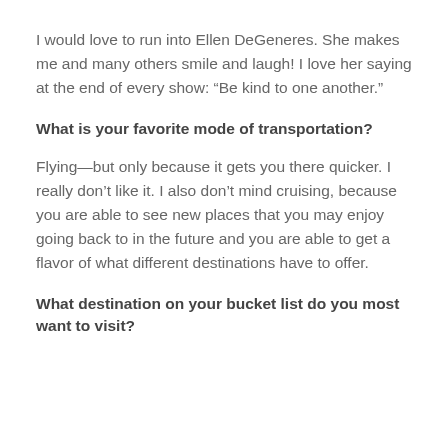I would love to run into Ellen DeGeneres. She makes me and many others smile and laugh! I love her saying at the end of every show: “Be kind to one another.”
What is your favorite mode of transportation?
Flying—but only because it gets you there quicker. I really don’t like it. I also don’t mind cruising, because you are able to see new places that you may enjoy going back to in the future and you are able to get a flavor of what different destinations have to offer.
What destination on your bucket list do you most want to visit?